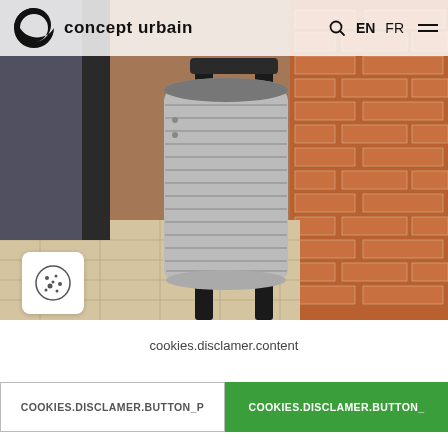concept urbain  EN  FR
[Figure (photo): Photo of a modern urban waste bin with horizontal ridged pattern on a dark metal stand, placed against a brick wall on a tiled outdoor surface.]
cookies.disclamer.content
COOKIES.DISCLAMER.BUTTON_P
COOKIES.DISCLAMER.BUTTON_